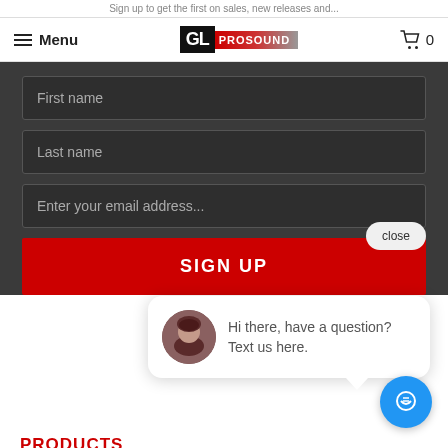Sign up to get the first on sales, new releases and...
[Figure (logo): GL ProSound logo with black GL block and red/grey PROSOUND text]
First name
Last name
Enter your email address...
SIGN UP
close
[Figure (illustration): Chat popup with woman avatar and text: Hi there, have a question? Text us here.]
PRODUCTS
Collection
Car Products